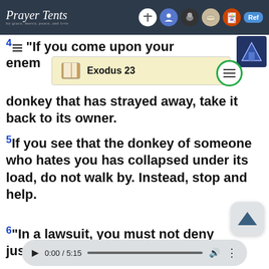Prayer Tents
Exodus 23
4"If you come upon your enemy's ox or donkey that has strayed away, take it back to its owner.
5If you see that the donkey of someone who hates you has collapsed under its load, do not walk by. Instead, stop and help.
6"In a lawsuit, you must not deny justice to the poor.
0:00 / 5:15